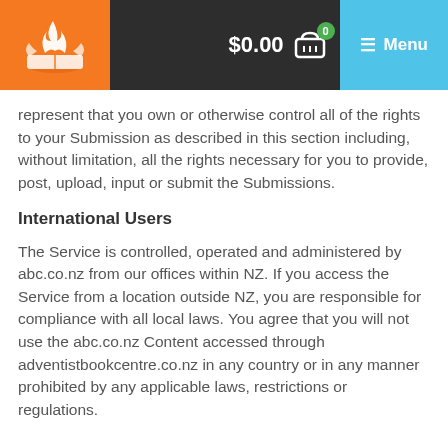$0.00  0  Menu
represent that you own or otherwise control all of the rights to your Submission as described in this section including, without limitation, all the rights necessary for you to provide, post, upload, input or submit the Submissions.
International Users
The Service is controlled, operated and administered by abc.co.nz from our offices within NZ. If you access the Service from a location outside NZ, you are responsible for compliance with all local laws. You agree that you will not use the abc.co.nz Content accessed through adventistbookcentre.co.nz in any country or in any manner prohibited by any applicable laws, restrictions or regulations.